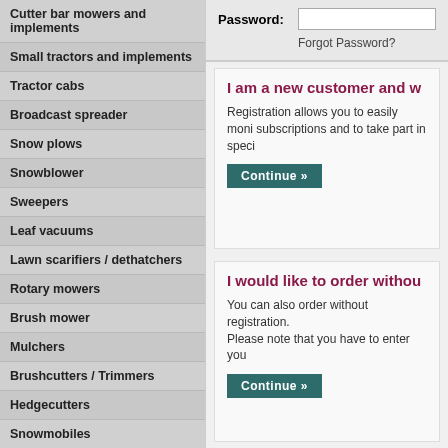Cutter bar mowers and implements
Small tractors and implements
Tractor cabs
Broadcast spreader
Snow plows
Snowblower
Sweepers
Leaf vacuums
Lawn scarifiers / dethatchers
Rotary mowers
Brush mower
Mulchers
Brushcutters / Trimmers
Hedgecutters
Snowmobiles
Spare parts
Engines
Tyres and accessories
Snow chains
Password:
Forgot Password?
I am a new customer and w
Registration allows you to easily moni subscriptions and to take part in speci
I would like to order withou
You can also order without registration. Please note that you have to enter you